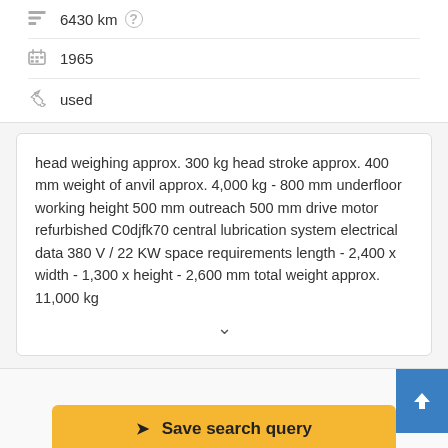6430 km
1965
used
head weighing approx. 300 kg head stroke approx. 400 mm weight of anvil approx. 4,000 kg - 800 mm underfloor working height 500 mm outreach 500 mm drive motor refurbished C0djfk70 central lubrication system electrical data 380 V / 22 KW space requirements length - 2,400 x width - 1,300 x height - 2,600 mm total weight approx. 11,000 kg
Save search query